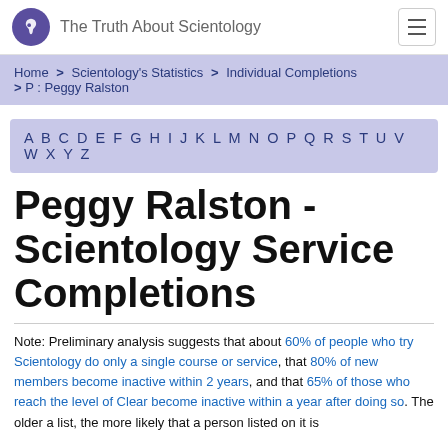The Truth About Scientology
Home > Scientology's Statistics > Individual Completions > P : Peggy Ralston
A B C D E F G H I J K L M N O P Q R S T U V W X Y Z
Peggy Ralston - Scientology Service Completions
Note: Preliminary analysis suggests that about 60% of people who try Scientology do only a single course or service, that 80% of new members become inactive within 2 years, and that 65% of those who reach the level of Clear become inactive within a year after doing so. The older a list, the more likely that a person listed on it is